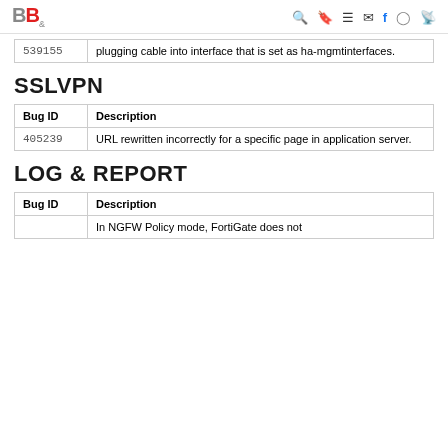B&B [navigation icons]
| Bug ID | Description |
| --- | --- |
| 539155 | plugging cable into interface that is set as ha-mgmtinterfaces. |
SSLVPN
| Bug ID | Description |
| --- | --- |
| 405239 | URL rewritten incorrectly for a specific page in application server. |
LOG & REPORT
| Bug ID | Description |
| --- | --- |
|  | In NGFW Policy mode, FortiGate does not |